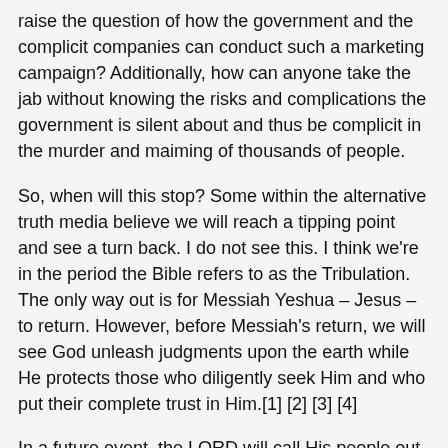raise the question of how the government and the complicit companies can conduct such a marketing campaign? Additionally, how can anyone take the jab without knowing the risks and complications the government is silent about and thus be complicit in the murder and maiming of thousands of people.
So, when will this stop? Some within the alternative truth media believe we will reach a tipping point and see a turn back. I do not see this. I think we're in the period the Bible refers to as the Tribulation. The only way out is for Messiah Yeshua – Jesus – to return. However, before Messiah's return, we will see God unleash judgments upon the earth while He protects those who diligently seek Him and who put their complete trust in Him.[1] [2] [3] [4]
In a future event, the LORD will call His people out of Babylon[5] as He leads them into the wilderness of the people.[6] Sadly many will not listen or leave and consequently will share in the judgment being poured out upon the earth. However, for those who leave, God will guide, protect, and provide in a way similar to how He did